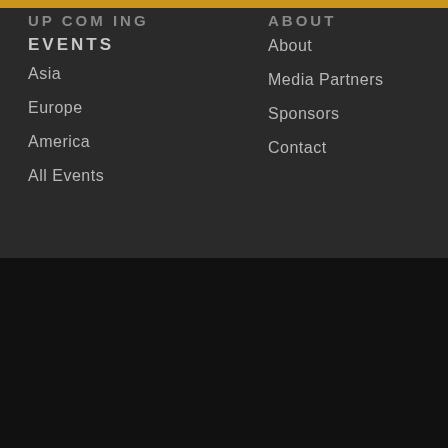UPCOMING EVENTS
Asia
Europe
America
All Events
ABOUT
About
Media Partners
Sponsors
Contact
© 2022 P&G MEDIA. CR. 5706994. REGISTERED IN ENGLAND AND WALES POWER AND ENERGY SOLUTIONS IS PUBLISHED BY P&G MEDIA

WEBSITE BY HULLO CREATIVE